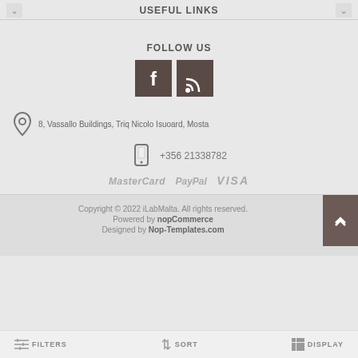USEFUL LINKS
FOLLOW US
[Figure (illustration): Two social media icon buttons: Facebook (f) and RSS feed icons, dark brown square backgrounds]
8, Vassallo Buildings, Triq Nicolo Isuoard, Mosta
+356 21338782
MasterCard   PayPal   VISA
Copyright © 2022 iLabMalta. All rights reserved. Powered by nopCommerce Designed by Nop-Templates.com
FILTERS   SORT   DISPLAY